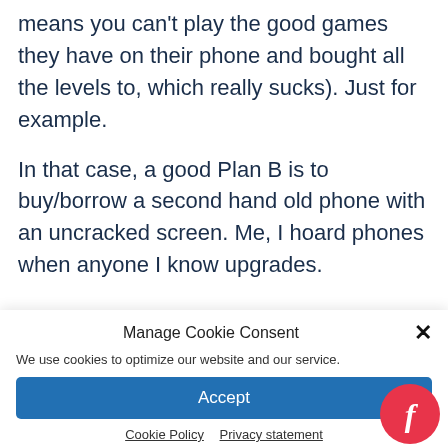means you can't play the good games they have on their phone and bought all the levels to, which really sucks). Just for example.
In that case, a good Plan B is to buy/borrow a second hand old phone with an uncracked screen. Me, I hoard phones when anyone I know upgrades.
Manage Cookie Consent
We use cookies to optimize our website and our service.
Accept
Cookie Policy   Privacy statement